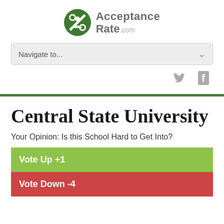[Figure (logo): AcceptanceRate.com logo with green circular icon and gray text]
Navigate to...
[Figure (illustration): Twitter and Facebook social media icons in gray]
Central State University
Your Opinion: Is this School Hard to Get Into?
Vote Up +1
Vote Down -4